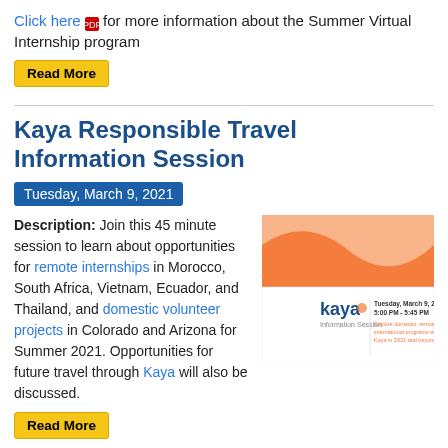Click here [PDF icon] for more information about the Summer Virtual Internship program
Read More
Kaya Responsible Travel Information Session
Tuesday, March 9, 2021
Description: Join this 45 minute session to learn about opportunities for remote internships in Morocco, South Africa, Vietnam, Ecuador, and Thailand, and domestic volunteer projects in Colorado and Arizona for Summer 2021. Opportunities for future travel through Kaya will also be discussed.
[Figure (illustration): Kaya Information Session flyer with orange wave design, showing Tuesday, March 9, 2020, 5:00 PM - 5:45 PM, and text about exploring domestic, remote, and international programs with Kaya in 2021 and beyond.]
Read More
Boston University Global Programs